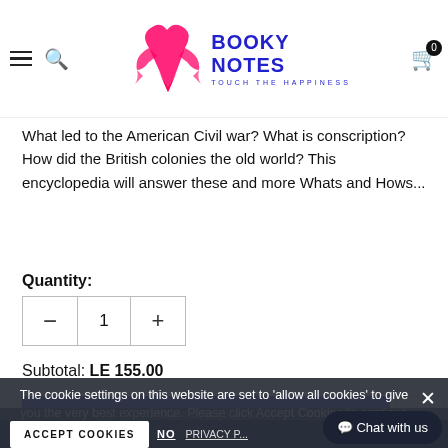Booky Notes — Touch The Happiness
What led to the American Civil war? What is conscription? How did the British colonies the old world? This encyclopedia will answer these and more Whats and Hows...
Quantity:
- 1 +
Subtotal: LE 155.00
ADD TO CART
The cookie settings on this website are set to 'allow all cookies' to give you the very best experience. Please click Accept Cookies to continue to use the site.
I agree with the terms and conditions
ACCEPT COOKIES
NO
PRIVACY POLICY
Chat with us